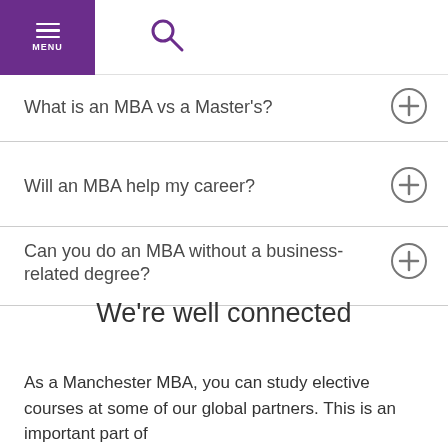MENU
What is an MBA vs a Master's?
Will an MBA help my career?
Can you do an MBA without a business-related degree?
We're well connected
As a Manchester MBA, you can study elective courses at some of our global partners. This is an important part of